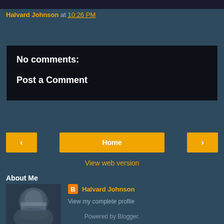Halvard Johnson at 10:26 PM
Share
No comments:
Post a Comment
< (previous)
Home
> (next)
View web version
About Me
[Figure (photo): Profile photo of Halvard Johnson - an older man with white beard wearing a cap]
Halvard Johnson
View my complete profile
Powered by Blogger.